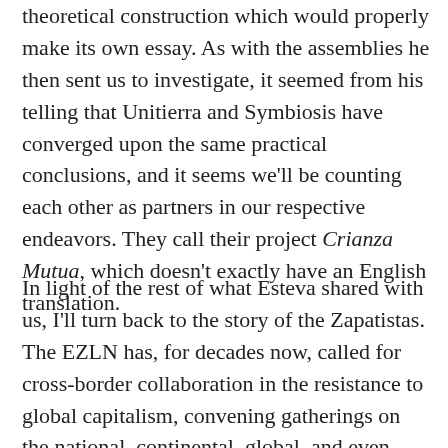theoretical construction which would properly make its own essay. As with the assemblies he then sent us to investigate, it seemed from his telling that Unitierra and Symbiosis have converged upon the same practical conclusions, and it seems we'll be counting each other as partners in our respective endeavors. They call their project Crianza Mutua, which doesn't exactly have an English translation.
In light of the rest of what Esteva shared with us, I'll turn back to the story of the Zapatistas. The EZLN has, for decades now, called for cross-border collaboration in the resistance to global capitalism, convening gatherings on the national, continental, global, and even intergalactic levels. In the Sixth Declaration of the Lacandon Jungle (2005), they declared themselves dedicated to working with all